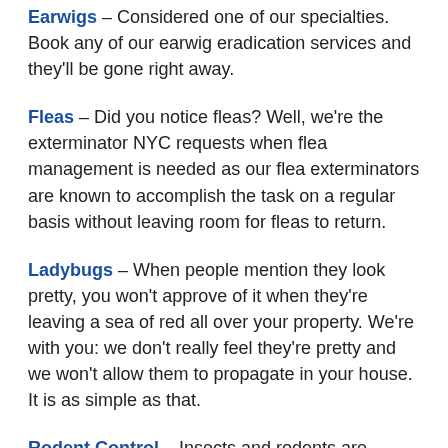Earwigs – Considered one of our specialties. Book any of our earwig eradication services and they'll be gone right away.
Fleas – Did you notice fleas? Well, we're the exterminator NYC requests when flea management is needed as our flea exterminators are known to accomplish the task on a regular basis without leaving room for fleas to return.
Ladybugs – When people mention they look pretty, you won't approve of it when they're leaving a sea of red all over your property. We're with you: we don't really feel they're pretty and we won't allow them to propagate in your house. It is as simple as that.
Rodent Control – Insects and rodents are apparently the core reasons homeowners seek out an Exterminator in NYC. However, the moment it